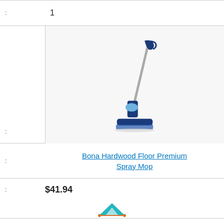: 1
[Figure (photo): Bona Hardwood Floor Premium Spray Mop product image - a blue spray mop with metal handle and flat mop head]
: Bona Hardwood Floor Premium Spray Mop
: $41.94
: Buy On Amazon